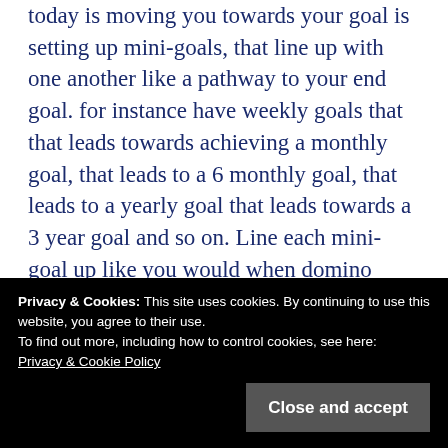today is moving you towards your goal is setting up mini-goals, that line up with one another like a pathway to your end goal. for instance have weekly goals that that leads towards achieving a monthly goal, that leads to a 6 monthly goal, that leads to a yearly goal that leads towards a 3 year goal and so on. Line each mini-goal up like you would when domino toppling, knock your weekly goals down and that automatically knocks the monthly goal down and
Privacy & Cookies: This site uses cookies. By continuing to use this website, you agree to their use.
To find out more, including how to control cookies, see here:
Privacy & Cookie Policy
So TAKING ACTION is an essential step in